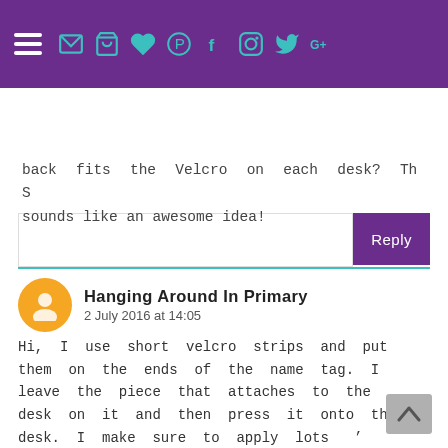Navigation bar with hamburger menu and social media icons
different lengths...so you just put the velcro on each desk and in equal ng apps. no matter the names length, the Velcro on the back fits the Velcro on each desk? Th S sounds like an awesome idea!
Reply
Hanging Around In Primary
2 July 2016 at 14:05
Hi, I use short velcro strips and put them on the ends of the name tag. I leave the piece that attaches to the desk on it and then press it onto the desk. I make sure to apply lots of pressure make sure it sticks and th I can easily pull up the nametag tried guessing where the strips on